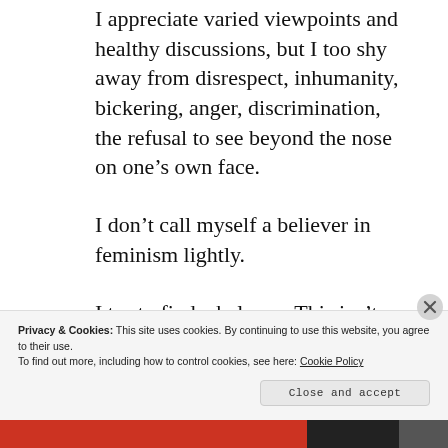I appreciate varied viewpoints and healthy discussions, but I too shy away from disrespect, inhumanity, bickering, anger, discrimination, the refusal to see beyond the nose on one’s own face.
I don’t call myself a believer in feminism lightly.
I try to find a balance. This isn’t easy.
Privacy & Cookies: This site uses cookies. By continuing to use this website, you agree to their use.
To find out more, including how to control cookies, see here: Cookie Policy